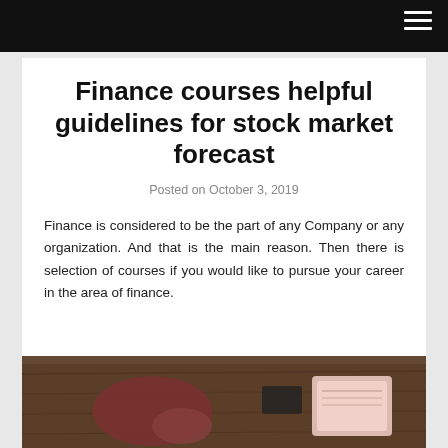Finance courses helpful guidelines for stock market forecast
Posted on October 3, 2019
Finance is considered to be the part of any Company or any organization. And that is the main reason. Then there is selection of courses if you would like to pursue your career in the area of finance.
[Figure (photo): Person sitting at a wooden desk working, with books and a notepad nearby, viewed from above]